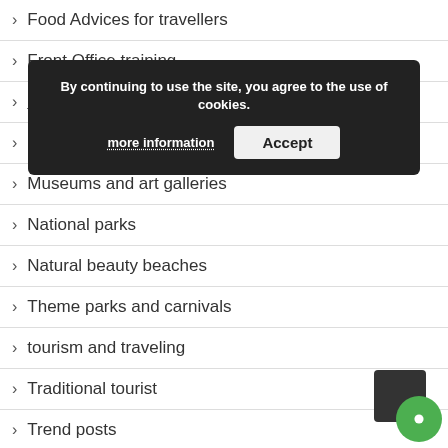Food Advices for travellers
Front Office training
Hotel satff training
Housekeeping training
Museums and art galleries
National parks
Natural beauty beaches
Theme parks and carnivals
tourism and traveling
Traditional tourist
Trend posts
Uncategorized
By continuing to use the site, you agree to the use of cookies. more information  Accept